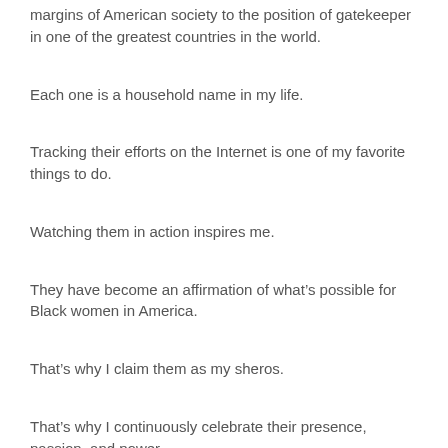margins of American society to the position of gatekeeper in one of the greatest countries in the world.
Each one is a household name in my life.
Tracking their efforts on the Internet is one of my favorite things to do.
Watching them in action inspires me.
They have become an affirmation of what’s possible for Black women in America.
That’s why I claim them as my sheros.
That’s why I continuously celebrate their presence, passion, and power.